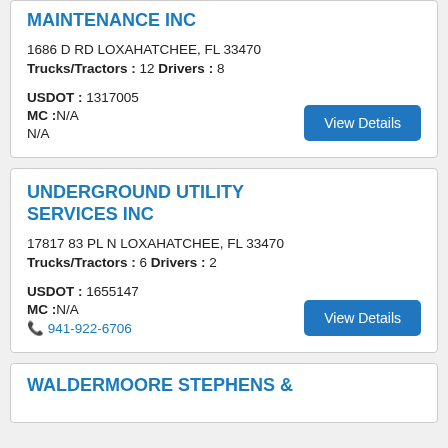MAINTENANCE INC
1686 D RD LOXAHATCHEE, FL 33470
Trucks/Tractors : 12 Drivers : 8

USDOT : 1317005
MC :N/A
N/A
UNDERGROUND UTILITY SERVICES INC
17817 83 PL N LOXAHATCHEE, FL 33470
Trucks/Tractors : 6 Drivers : 2

USDOT : 1655147
MC :N/A
941-922-6706
WALDERMOORE STEPHENS &